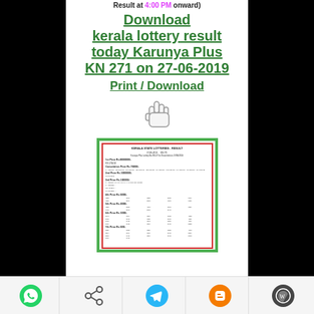Result at 4:00 PM onward)
Download kerala lottery result today Karunya Plus KN 271 on 27-06-2019
Print / Download
[Figure (illustration): Hand/cursor pointing icon]
[Figure (screenshot): Kerala lottery result document preview with green border]
[Figure (infographic): Bottom share bar with WhatsApp, Share, Telegram, Blogger, WordPress icons]